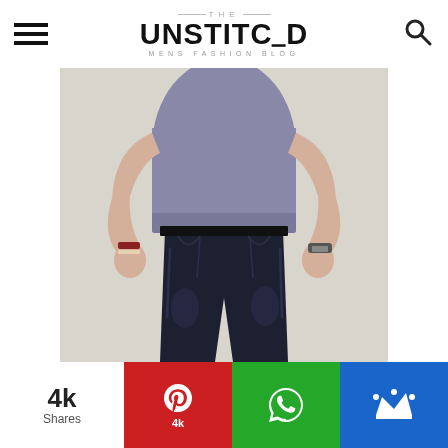THE UNSTITCHED MENS FASHION BLOG
[Figure (photo): Man wearing a grey t-shirt and dark slim jeans, hands in pockets, headless torso and legs shot against light background]
4k Shares
4k (Pinterest share button)
WhatsApp share button
Crown/bookmark button